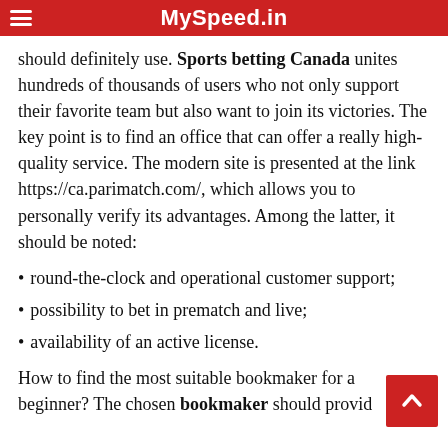MySpeed.in
should definitely use. Sports betting Canada unites hundreds of thousands of users who not only support their favorite team but also want to join its victories. The key point is to find an office that can offer a really high-quality service. The modern site is presented at the link https://ca.parimatch.com/, which allows you to personally verify its advantages. Among the latter, it should be noted:
round-the-clock and operational customer support;
possibility to bet in prematch and live;
availability of an active license.
How to find the most suitable bookmaker for a beginner? The chosen bookmaker should provide players with a convenient list of different...